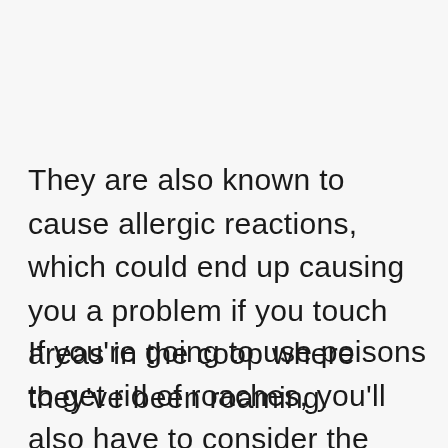They are also known to cause allergic reactions, which could end up causing you a problem if you touch areas in the coop where they've been roaming.
If you're going to use poisons to get rid of roaches, you'll also have to consider the safest options in case